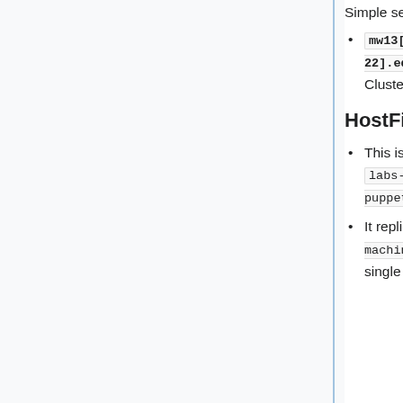Simple selection of a specific FQDN
mw13[15-22].eqiad.wmnet,mw2222.codfw.w... ClusterShell syntax for hosts expansion and comma-separated multiple FQDNs
HostFile backend (Enabled only in Cloud VPS)
This is a custom backend enabled through Cumin's plugin features only in Cloud VPS ( labs-puppetmaster and other VPS cumin masters)
It replicates the functionality provided by clush 's --hostfile or --machinefile option, and may be used to specify a path to a file containing a list of single hosts, node sets or node groups, separated by